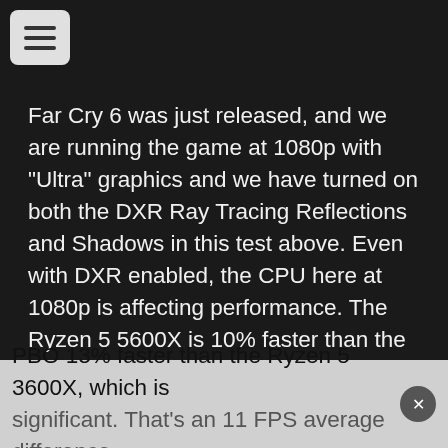[Figure (other): Hamburger menu button icon with three horizontal lines on a light gray rounded rectangle background]
Far Cry 6 was just released, and we are running the game at 1080p with "Ultra" graphics and we have turned on both the DXR Ray Tracing Reflections and Shadows in this test above. Even with DXR enabled, the CPU here at 1080p is affecting performance. The Ryzen 5 5600X is 10% faster than the Ryzen 5 3600X. This is pretty interesting, especially considering we are running with Ray Tracing enabled on the GPU. Yet in this game, the CPU does affect it more than you would think at 1080p. Even PBO has improved performance by another 3%. That makes the Ryzen 5 5600X with PBO 13% faster than the Ryzen 5 3600X, which is significant. That's an 11 FPS average difference...
PBO 13% faster than the Ryzen 5 3600X, which is significant. That's an 11 FPS average difference...